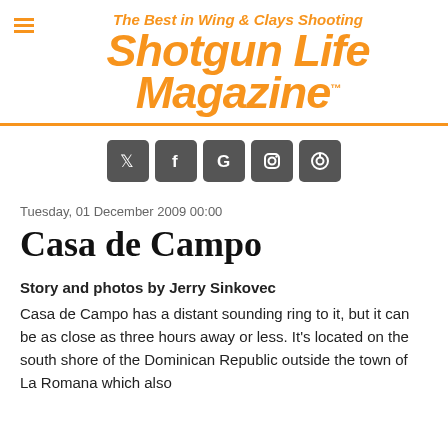The Best in Wing & Clays Shooting
Shotgun Life Magazine
[Figure (other): Social media icons row: Twitter, Facebook, Google, Instagram, Pinterest]
Tuesday, 01 December 2009 00:00
Casa de Campo
Story and photos by Jerry Sinkovec
Casa de Campo has a distant sounding ring to it, but it can be as close as three hours away or less. It's located on the south shore of the Dominican Republic outside the town of La Romana which also